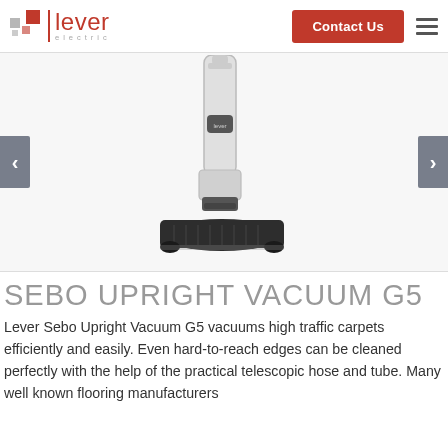lever electric — Contact Us
[Figure (photo): Sebo Upright Vacuum G5 product photo — white and black upright vacuum cleaner against white background]
SEBO UPRIGHT VACUUM G5
Lever Sebo Upright Vacuum G5 vacuums high traffic carpets efficiently and easily. Even hard-to-reach edges can be cleaned perfectly with the help of the practical telescopic hose and tube. Many well known flooring manufacturers